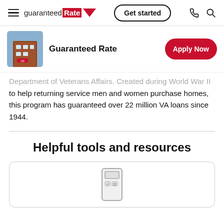guaranteed Rate — Get started
[Figure (screenshot): Guaranteed Rate company logo with a building thumbnail and Apply Now button]
Department of Veterans Affairs. Created during World War II to help returning service men and women purchase homes, this program has guaranteed over 22 million VA loans since 1944.
Helpful tools and resources
[Figure (illustration): Calculator icon inside a rounded rectangle card]